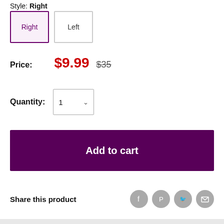Style: Right
[Figure (screenshot): Two style selector buttons: 'Right' (selected, purple border and background) and 'Left' (unselected, gray border)]
Price: $9.99  $35
Quantity: 1
Add to cart
Share this product
[Figure (illustration): Social share icons: Facebook, Pinterest, Twitter, Email — all gray circles]